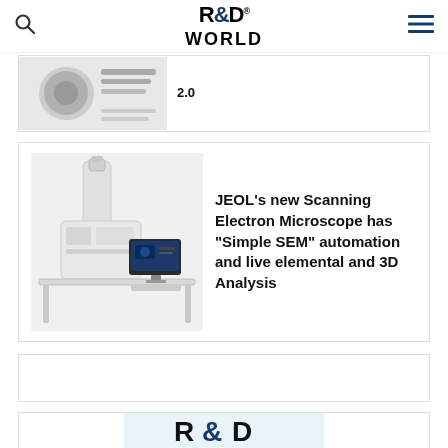R&D WORLD
[Figure (screenshot): Partially visible article card with a thumbnail image of a scientific diagram and the number 2.0]
[Figure (photo): JEOL Scanning Electron Microscope machine on a desk with a monitor]
JEOL’s new Scanning Electron Microscope has “Simple SEM” automation and live elemental and 3D Analysis
[Figure (other): Empty advertisement box]
[Figure (logo): R&D World logo partially visible at bottom]